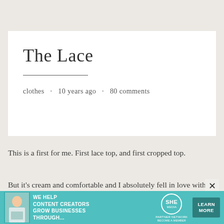The Lace
clothes · 10 years ago · 80 comments
This is a first for me. First lace top, and first cropped top.
But it's cream and comfortable and I absolutely fell in love with it
[Figure (other): Advertisement banner for SHE Media Partner Network with teal background, woman with laptop photo, text 'WE HELP CONTENT CREATORS GROW BUSINESSES THROUGH...', SHE logo, and 'LEARN MORE' button]